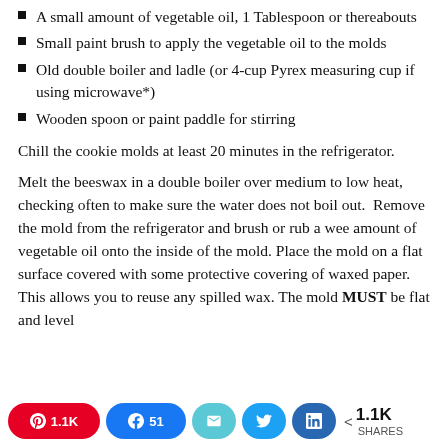A small amount of vegetable oil, 1 Tablespoon or thereabouts
Small paint brush to apply the vegetable oil to the molds
Old double boiler and ladle (or 4-cup Pyrex measuring cup if using microwave*)
Wooden spoon or paint paddle for stirring
Chill the cookie molds at least 20 minutes in the refrigerator.
Melt the beeswax in a double boiler over medium to low heat, checking often to make sure the water does not boil out. Remove the mold from the refrigerator and brush or rub a wee amount of vegetable oil onto the inside of the mold. Place the mold on a flat surface covered with some protective covering of waxed paper. This allows you to reuse any spilled wax. The mold MUST be flat and level